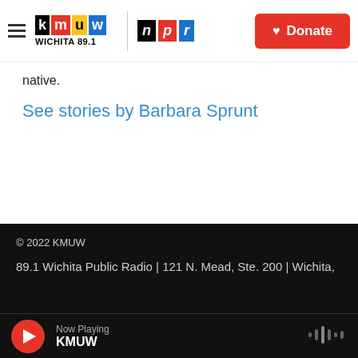KMUW Wichita 89.1 | NPR | Donate
native.
See stories by Barbara Sprunt
© 2022 KMUW
89.1 Wichita Public Radio | 121 N. Mead, Ste. 200 | Wichita,
Now Playing KMUW